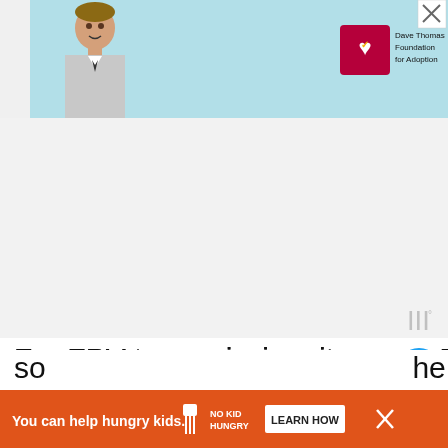[Figure (illustration): Advertisement banner at top of page: light blue background with photo of young boy on left, Dave Thomas Foundation for Adoption logo on right, close button (X) in top-right corner]
[Figure (other): White/grey whiteboard-like area with Miro-style logo icon in bottom-right corner]
For FPV transmission, it uses a FOXEER Razer MINI FPV camera with 1200TVL that can transmit real-time FPV via a 5.8GHz channel. The transmission range can be 0.5KM @25mW, 1KM @200mW, 2KM @600mW with the stock antenna that comes with the drone. Some countries have limits on max transmitter pow...
[Figure (illustration): Heart/like button (blue circle) with count 2, and share button below it on the right sidebar]
[Figure (illustration): Bottom advertisement banner: orange background, 'You can help hungry kids.' text, No Kid Hungry logo, LEARN HOW button, close X button. Miro wordmark icon above it.]
of